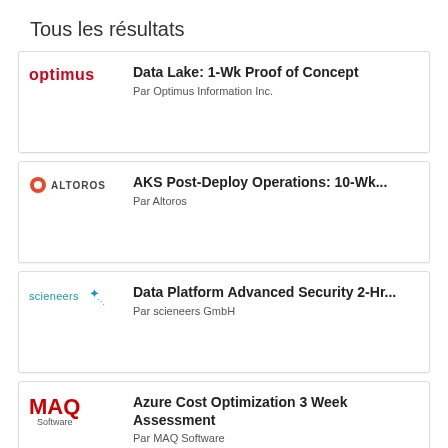Tous les résultats
Data Lake: 1-Wk Proof of Concept
Par Optimus Information Inc.
AKS Post-Deploy Operations: 10-Wk...
Par Altoros
Data Platform Advanced Security 2-Hr...
Par scieneers GmbH
Azure Cost Optimization 3 Week Assessment
Par MAQ Software